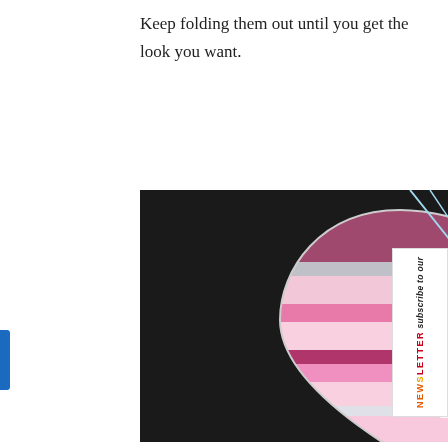Keep folding them out until you get the look you want.
[Figure (photo): A heart-shaped paper lantern or ornament decorated with horizontal pink and purple stripes, hanging from light blue wires against a dark background. The watermark 'funonadime.net' appears at the bottom of the image.]